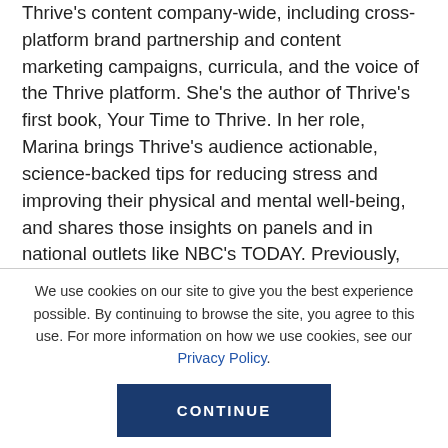Thrive's content company-wide, including cross-platform brand partnership and content marketing campaigns, curricula, and the voice of the Thrive platform. She's the author of Thrive's first book, Your Time to Thrive. In her role, Marina brings Thrive's audience actionable, science-backed tips for reducing stress and improving their physical and mental well-being, and shares those insights on panels and in national outlets like NBC's TODAY. Previously, Marina held senior editorial roles at Women's Health, Cosmopolitan, and Glamour, where she edited award-winning health and mental
We use cookies on our site to give you the best experience possible. By continuing to browse the site, you agree to this use. For more information on how we use cookies, see our Privacy Policy.
CONTINUE